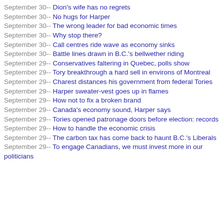September 30-- Dion's wife has no regrets
September 30-- No hugs for Harper
September 30-- The wrong leader for bad economic times
September 30-- Why stop there?
September 30-- Call centres ride wave as economy sinks
September 30-- Battle lines drawn in B.C.'s bellwether riding
September 29-- Conservatives faltering in Quebec, polls show
September 29-- Tory breakthrough a hard sell in environs of Montreal
September 29-- Charest distances his government from federal Tories
September 29-- Harper sweater-vest goes up in flames
September 29-- How not to fix a broken brand
September 29-- Canada's economy sound, Harper says
September 29-- Tories opened patronage doors before election: records
September 29-- How to handle the economic crisis
September 29-- The carbon tax has come back to haunt B.C.'s Liberals
September 29-- To engage Canadians, we must invest more in our politicians